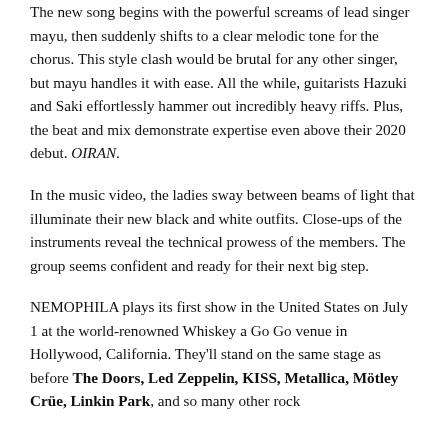The new song begins with the powerful screams of lead singer mayu, then suddenly shifts to a clear melodic tone for the chorus. This style clash would be brutal for any other singer, but mayu handles it with ease. All the while, guitarists Hazuki and Saki effortlessly hammer out incredibly heavy riffs. Plus, the beat and mix demonstrate expertise even above their 2020 debut. OIRAN.
In the music video, the ladies sway between beams of light that illuminate their new black and white outfits. Close-ups of the instruments reveal the technical prowess of the members. The group seems confident and ready for their next big step.
NEMOPHILA plays its first show in the United States on July 1 at the world-renowned Whiskey a Go Go venue in Hollywood, California. They'll stand on the same stage as before The Doors, Led Zeppelin, KISS, Metallica, Mötley Crüe, Linkin Park, and so many other rock